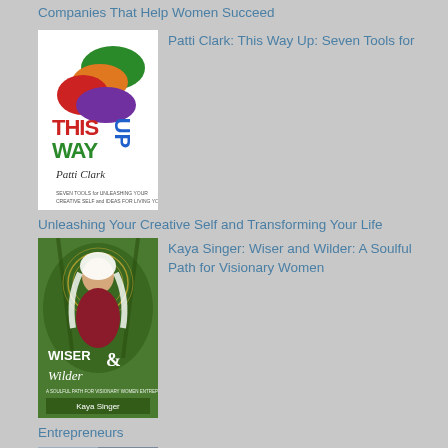Companies That Help Women Succeed
[Figure (photo): Book cover: This Way Up by Patti Clark, featuring colorful abstract paint strokes and bold text]
Patti Clark: This Way Up: Seven Tools for Unleashing Your Creative Self and Transforming Your Life
[Figure (photo): Book cover: Wiser and Wilder by Kaya Singer, featuring an artistic illustration of a woman with white hair surrounded by nature]
Kaya Singer: Wiser and Wilder: A Soulful Path for Visionary Women Entrepreneurs
[Figure (photo): Book cover: Jena E. Abernathy with Kelly Glasserman]
Jena Abernathy: